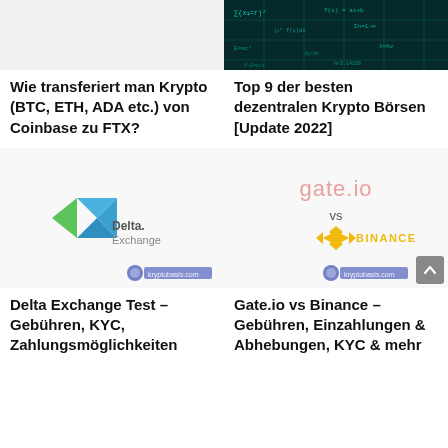[Figure (photo): Gray placeholder image for crypto transfer article]
[Figure (photo): Dark teal background with math/equations overlay for decentralized crypto exchanges article]
Wie transferiert man Krypto (BTC, ETH, ADA etc.) von Coinbase zu FTX?
Top 9 der besten dezentralen Krypto Börsen [Update 2022]
[Figure (logo): Delta Exchange logo: blue and green geometric diamond shape with text 'Delta. Exchange' and watermark]
[Figure (logo): Gate.io vs BINANCE logo comparison image with watermark and scroll-to-top button]
Delta Exchange Test – Gebühren, KYC, Zahlungsmöglichkeiten
Gate.io vs Binance – Gebühren, Einzahlungen & Abhebungen, KYC & mehr